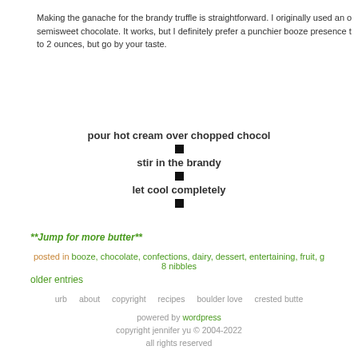Making the ganache for the brandy truffle is straightforward. I originally used an old recipe with semisweet chocolate. It works, but I definitely prefer a punchier booze presence to 2 ounces, but go by your taste.
pour hot cream over chopped chocolate
stir in the brandy
let cool completely
**Jump for more butter**
posted in booze, chocolate, confections, dairy, dessert, entertaining, fruit, g... 8 nibbles
older entries
urb   about   copyright   recipes   boulder love   crested butte
powered by wordpress
copyright jennifer yu © 2004-2022
all rights reserved